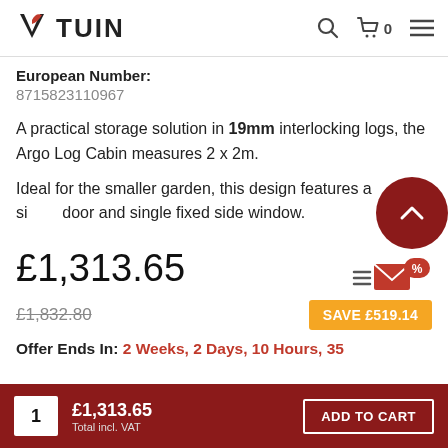TUIN
European Number:
8715823110967
A practical storage solution in 19mm interlocking logs, the Argo Log Cabin measures 2 x 2m.
Ideal for the smaller garden, this design features a single door and single fixed side window.
£1,313.65
£1,832.80
SAVE £519.14
Offer Ends In: 2 Weeks, 2 Days, 10 Hours, 35
1  £1,313.65  Total incl. VAT  ADD TO CART